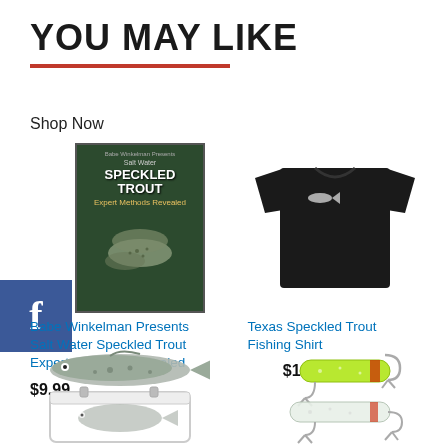YOU MAY LIKE
Shop Now
[Figure (photo): Book cover: Babe Winkelman Presents Salt Water Speckled Trout Expert Methods Revealed]
Babe Winkelman Presents Salt Water Speckled Trout Expert Methods Revealed
$9.99
[Figure (photo): Black t-shirt with small fish graphic on chest: Texas Speckled Trout Fishing Shirt]
Texas Speckled Trout Fishing Shirt
$19.99 prime
[Figure (photo): Speckled trout fish illustration above a white cooler with fish image]
[Figure (photo): Yellow-green fishing lures with hooks]